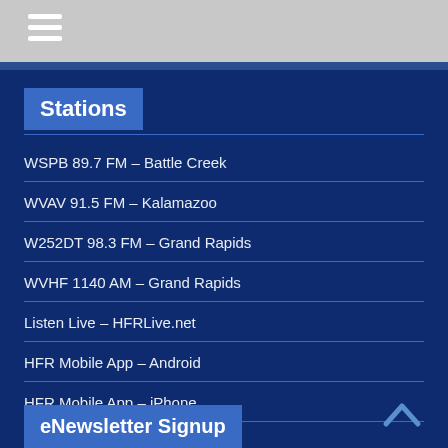≡
Stations
WSPB 89.7 FM – Battle Creek
WVAV 91.5 FM – Kalamazoo
W252DT 98.3 FM – Grand Rapids
WVHF 1140 AM – Grand Rapids
Listen Live – HFRLive.net
HFR Mobile App – Android
HFR Mobile App – iPhone
eNewsletter Signup